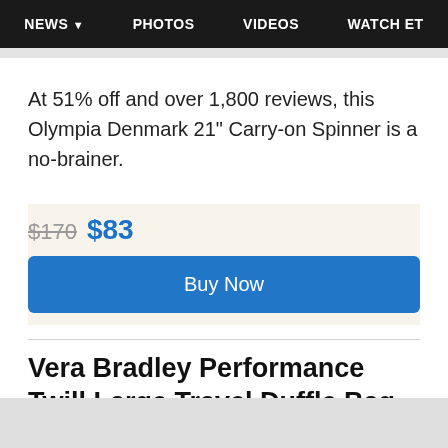NEWS ▾   PHOTOS   VIDEOS   WATCH ET
At 51% off and over 1,800 reviews, this Olympia Denmark 21" Carry-on Spinner is a no-brainer.
$170  $83
Buy Now
Vera Bradley Performance Twill Large Travel Duffle Bag